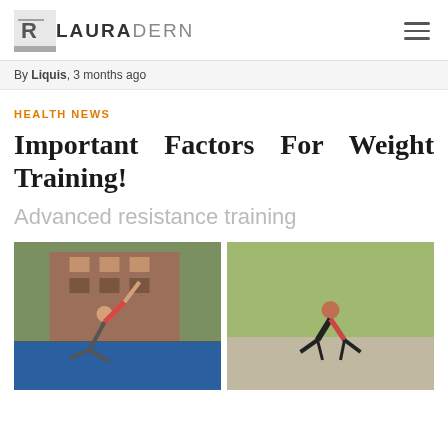LAURADERN
By Liquis, 3 months ago
HEALTH NEWS
Important Factors For Weight Training!
Advanced resistance training
[Figure (photo): Woman doing an outdoor resistance training exercise on a basketball court, lifting a weight overhead while in a side plank position, wearing red top and dark shorts, brick building and trees in background.]
[Figure (photo): Tattooed woman doing a crow pose / arm balance exercise outdoors, wearing black outfit with red sports bra, on a paved surface with greenery in background.]